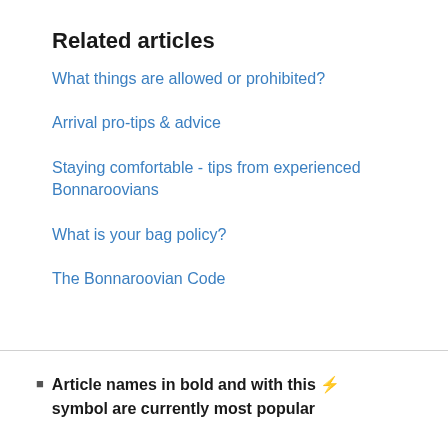Related articles
What things are allowed or prohibited?
Arrival pro-tips & advice
Staying comfortable - tips from experienced Bonnaroovians
What is your bag policy?
The Bonnaroovian Code
Article names in bold and with this ⚡ symbol are currently most popular